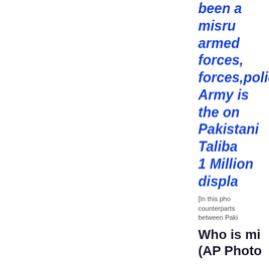been a miserable armed forces, forces,police,le Army is the on Pakistani Taliba 1 Million displa
[Figure (photo): Photo caption referencing counterparts between Paki... Who is mi... (AP Photo]
Who is mi (AP Photo
Raghu Raman
May 24, 2017
Quartz India
In the 1983 film supercompute control. After e strange game, possibly truest
For all the xe